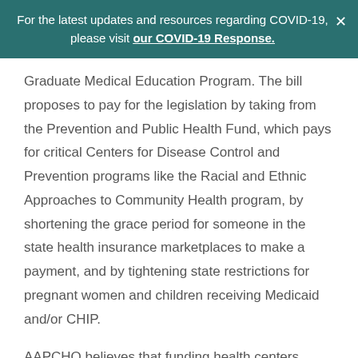For the latest updates and resources regarding COVID-19, please visit our COVID-19 Response.
Graduate Medical Education Program. The bill proposes to pay for the legislation by taking from the Prevention and Public Health Fund, which pays for critical Centers for Disease Control and Prevention programs like the Racial and Ethnic Approaches to Community Health program, by shortening the grace period for someone in the state health insurance marketplaces to make a payment, and by tightening state restrictions for pregnant women and children receiving Medicaid and/or CHIP.
AAPCHO believes that funding health centers should not be pitted against other key programs